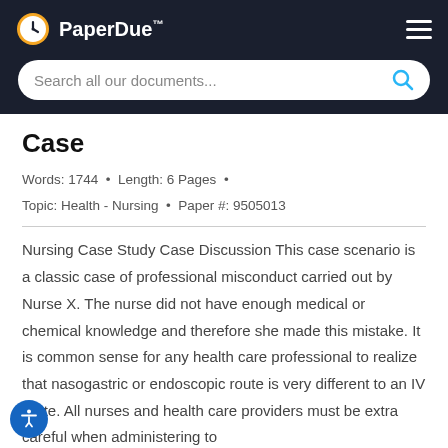PaperDue™
Case
Words: 1744  •  Length: 6 Pages  •
Topic: Health - Nursing  •  Paper #: 9505013
Nursing Case Study Case Discussion This case scenario is a classic case of professional misconduct carried out by Nurse X. The nurse did not have enough medical or chemical knowledge and therefore she made this mistake. It is common sense for any health care professional to realize that nasogastric or endoscopic route is very different to an IV route. All nurses and health care providers must be extra careful when administering to